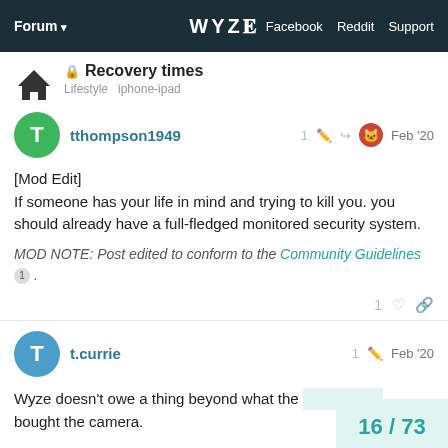Forum | WYZE | Facebook Reddit Support
Recovery times
Lifestyle  iphone-ipad
tthompson1949  1  Feb '20
[Mod Edit]
If someone has your life in mind and trying to kill you. you should already have a full-fledged monitored security system.
MOD NOTE: Post edited to conform to the Community Guidelines 1 .
t.currie  1  Feb '20
Wyze doesn't owe a thing beyond what the bought the camera.
16 / 73